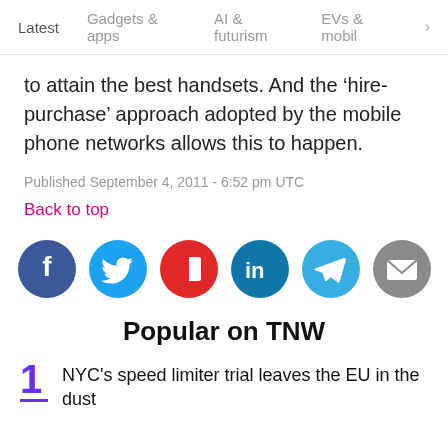Latest  Gadgets & apps  AI & futurism  EVs & mobil  >
to attain the best handsets. And the 'hire-purchase' approach adopted by the mobile phone networks allows this to happen.
Published September 4, 2011 - 6:52 pm UTC
Back to top
[Figure (infographic): Social sharing icons: Facebook (blue), Twitter (blue), Flipboard (red), LinkedIn (dark blue), Telegram (teal), Email (gray)]
Popular on TNW
1. NYC's speed limiter trial leaves the EU in the dust